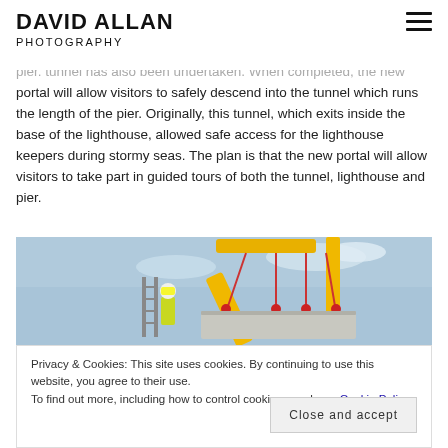DAVID ALLAN PHOTOGRAPHY
pier. tunnel has also been undertaken. When completed, the new portal will allow visitors to safely descend into the tunnel which runs the length of the pier. Originally, this tunnel, which exits inside the base of the lighthouse, allowed safe access for the lighthouse keepers during stormy seas. The plan is that the new portal will allow visitors to take part in guided tours of both the tunnel, lighthouse and pier.
[Figure (photo): Construction photo showing yellow crane lifting a large concrete slab, with a worker in high-visibility vest and hard hat visible. Blue sky background.]
Privacy & Cookies: This site uses cookies. By continuing to use this website, you agree to their use.
To find out more, including how to control cookies, see here: Cookie Policy
Close and accept